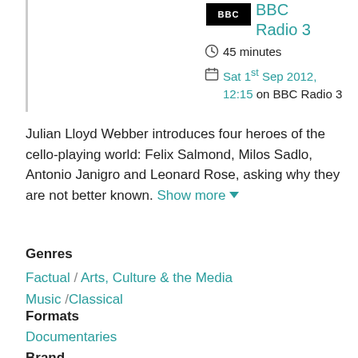[Figure (logo): BBC logo — black rectangle with white BBC text]
BBC Radio 3
45 minutes
Sat 1st Sep 2012, 12:15 on BBC Radio 3
Julian Lloyd Webber introduces four heroes of the cello-playing world: Felix Salmond, Milos Sadlo, Antonio Janigro and Leonard Rose, asking why they are not better known. Show more
Genres
Factual / Arts, Culture & the Media
Music / Classical
Formats
Documentaries
Brand